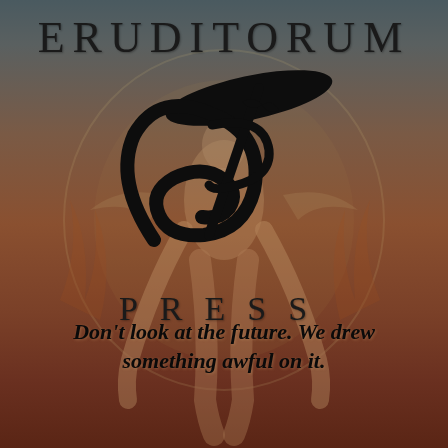[Figure (logo): Eruditorum Press logo: a stylized cursive 'EP' monogram in black with a large sweeping oval shape above, set against a dark reddish-brown background with a faint William Blake-style figure of a muscular human reaching downward]
ERUDITORUM
PRESS
Don't look at the future. We drew something awful on it.